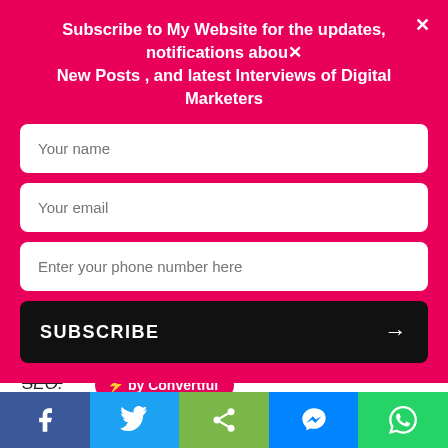Subscribe to My Website for the updates, notifications about New Posts , and latest Interviews of Digital Marketers
[Figure (screenshot): Subscription form popup with fields for name, email, phone number, and a Subscribe button]
Keeping in mind a local audience is called Local SEO.
[Figure (logo): ⚡ by Convertful badge]
This is a technique in which your website or blog is specially optimized so that it ranks better on the search engine for a local audience.
[Figure (infographic): Social share bar with Facebook, Twitter, Share, Messenger, and WhatsApp buttons]